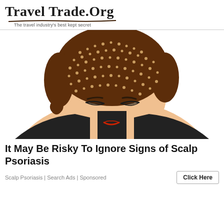Travel Trade.Org — The travel industry's best kept secret
[Figure (illustration): Illustration of a woman with short brown hair bending her head forward, showing her scalp with small white dots/flakes visible on the top of her head, wearing a black top, with a neutral/slightly smiling expression, drawn in a flat cartoon style.]
It May Be Risky To Ignore Signs of Scalp Psoriasis
Scalp Psoriasis | Search Ads | Sponsored
Click Here